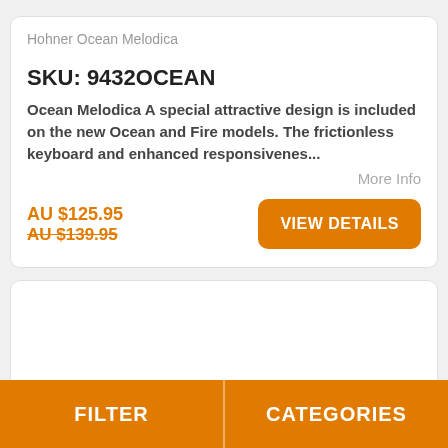Hohner Ocean Melodica
SKU: 9432OCEAN
Ocean Melodica A special attractive design is included on the new Ocean and Fire models. The frictionless keyboard and enhanced responsivenes...
More Info
AU $125.95
AU $139.95
[Figure (other): VIEW DETAILS button - orange rounded rectangle]
[Figure (photo): Second product card with partial product image visible at bottom]
FILTER | CATEGORIES